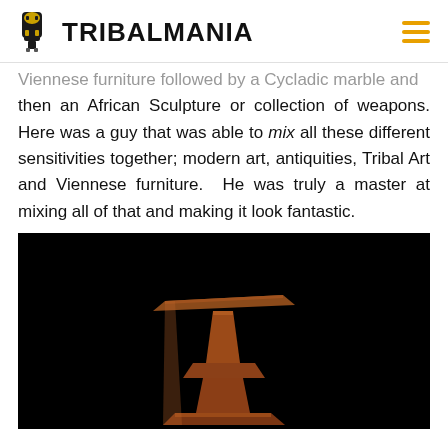TRIBALMANIA
Viennese furniture followed by a Cycladic marble and then an African Sculpture or collection of weapons. Here was a guy that was able to mix all these different sensitivities together; modern art, antiquities, Tribal Art and Viennese furniture.  He was truly a master at mixing all of that and making it look fantastic.
[Figure (photo): A wooden pedestal or stand with a flat top surface, photographed against a black background. The piece has an elegant, sculptural form with a tapered column and flared base.]